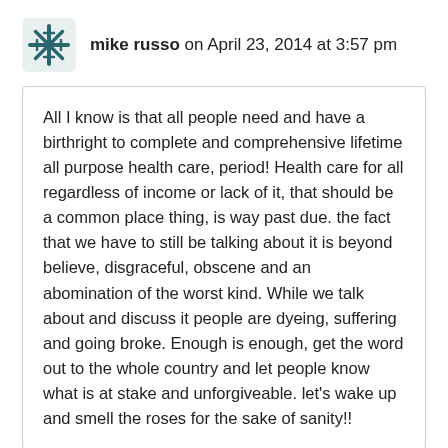mike russo on April 23, 2014 at 3:57 pm
All I know is that all people need and have a birthright to complete and comprehensive lifetime all purpose health care, period! Health care for all regardless of income or lack of it, that should be a common place thing, is way past due. the fact that we have to still be talking about it is beyond believe, disgraceful, obscene and an abomination of the worst kind. While we talk about and discuss it people are dyeing, suffering and going broke. Enough is enough, get the word out to the whole country and let people know what is at stake and unforgiveable. let's wake up and smell the roses for the sake of sanity!!